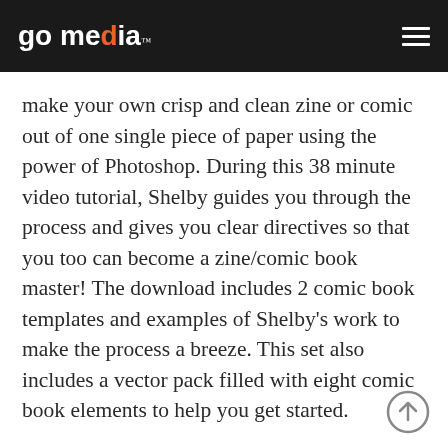go media™
make your own crisp and clean zine or comic out of one single piece of paper using the power of Photoshop. During this 38 minute video tutorial, Shelby guides you through the process and gives you clear directives so that you too can become a zine/comic book master! The download includes 2 comic book templates and examples of Shelby's work to make the process a breeze. This set also includes a vector pack filled with eight comic book elements to help you get started.